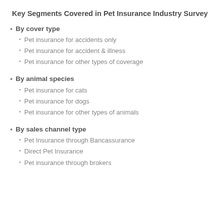Key Segments Covered in Pet Insurance Industry Survey
By cover type
Pet insurance for accidents only
Pet insurance for accident & illness
Pet insurance for other types of coverage
By animal species
Pet insurance for cats
Pet insurance for dogs
Pet insurance for other types of animals
By sales channel type
Pet Insurance through Bancassurance
Direct Pet Insurance
Pet insurance through brokers